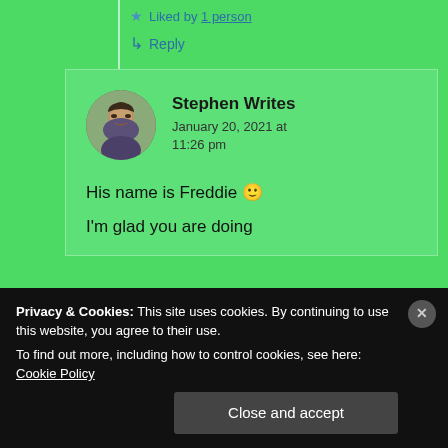★ Liked by 1 person
↳ Reply
Stephen Writes
January 20, 2021 at 11:26 pm
His name is Freddie 🙂
I'm glad you are doing
Privacy & Cookies: This site uses cookies. By continuing to use this website, you agree to their use.
To find out more, including how to control cookies, see here: Cookie Policy
Close and accept